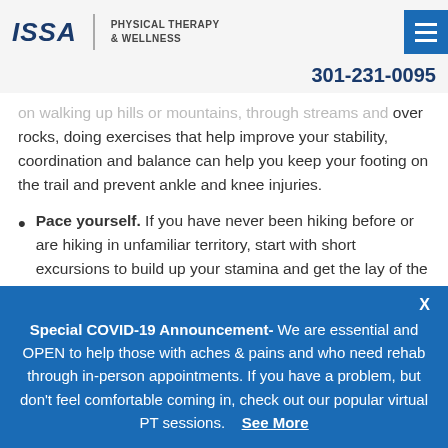ISSA PHYSICAL THERAPY & WELLNESS | 301-231-0095
on walking up hills or mountains, through streams and over rocks, doing exercises that help improve your stability, coordination and balance can help you keep your footing on the trail and prevent ankle and knee injuries.
Pace yourself. If you have never been hiking before or are hiking in unfamiliar territory, start with short excursions to build up your stamina and get the lay of the land. Also make sure to take regular breaks to keep yourself hydrated.
For more great hiking tips or to discuss the benefits of having
Special COVID-19 Announcement- We are essential and OPEN to help those with aches & pains and who need rehab through in-person appointments. If you have a problem, but don't feel comfortable coming in, check out our popular virtual PT sessions.   See More